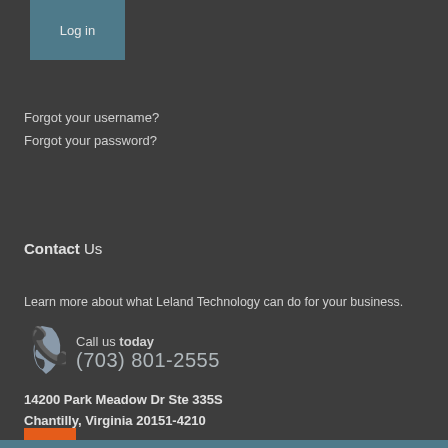Log in
Forgot your username?
Forgot your password?
Contact Us
Learn more about what Leland Technology can do for your business.
Call us today (703) 801-2555
14200 Park Meadow Dr Ste 335S
Chantilly, Virginia 20151-4210
[Figure (logo): Orange RSS feed icon]